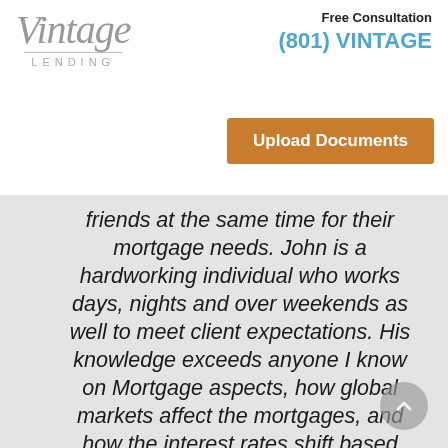[Figure (logo): Vintage Lending logo with stylized italic text and 'LENDING' in spaced capitals]
Free Consultation
(801) VINTAGE
Upload Documents
friends at the same time for their mortgage needs. John is a hardworking individual who works days, nights and over weekends as well to meet client expectations. His knowledge exceeds anyone I know on Mortgage aspects, how global markets affect the mortgages, and how the interest rates shift based